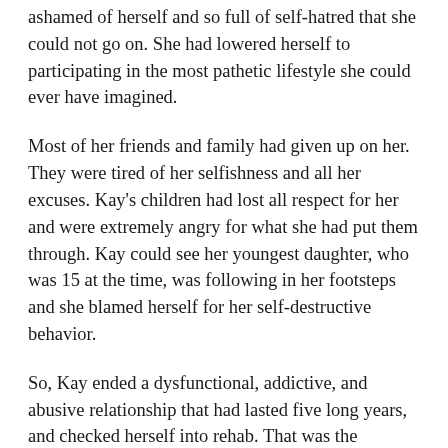ashamed of herself and so full of self-hatred that she could not go on. She had lowered herself to participating in the most pathetic lifestyle she could ever have imagined.
Most of her friends and family had given up on her. They were tired of her selfishness and all her excuses. Kay's children had lost all respect for her and were extremely angry for what she had put them through. Kay could see her youngest daughter, who was 15 at the time, was following in her footsteps and she blamed herself for her self-destructive behavior.
So, Kay ended a dysfunctional, addictive, and abusive relationship that had lasted five long years, and checked herself into rehab. That was the beginning of her journey into healing and